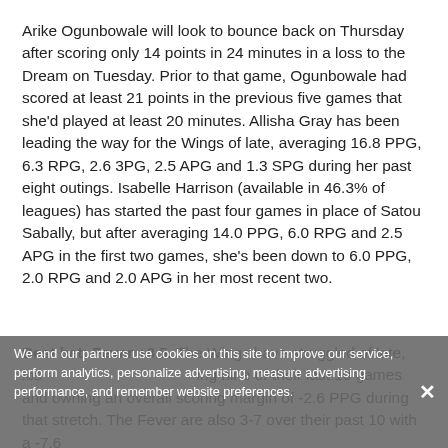Arike Ogunbowale will look to bounce back on Thursday after scoring only 14 points in 24 minutes in a loss to the Dream on Tuesday. Prior to that game, Ogunbowale had scored at least 21 points in the previous five games that she'd played at least 20 minutes. Allisha Gray has been leading the way for the Wings of late, averaging 16.8 PPG, 6.3 RPG, 2.6 3PG, 2.5 APG and 1.3 SPG during her past eight outings. Isabelle Harrison (available in 46.3% of leagues) has started the past four games in place of Satou Sabally, but after averaging 14.0 PPG, 6.0 RPG and 2.5 APG in the first two games, she's been down to 6.0 PPG, 2.0 RPG and 2.0 APG in her most recent two.
Best bet: Fever +8.5. The Wings have struggled of late, losing nine of their last 10 games and owning an overall scoring margin of -2.6 PPG during that stretch. The Fever are also 3-7 over their past 10 with a -7.6
We and our partners use cookies on this site to improve our service, perform analytics, personalize advertising, measure advertising performance, and remember website preferences.